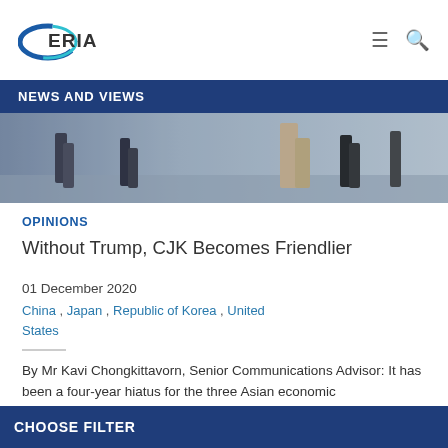[Figure (logo): ERIA logo with blue ellipse/swoosh and text ERIA]
NEWS AND VIEWS
[Figure (photo): Photo of people walking, blurred motion, viewed from waist down]
OPINIONS
Without Trump, CJK Becomes Friendlier
01 December 2020
China , Japan , Republic of Korea , United States
By Mr Kavi Chongkittavorn, Senior Communications Advisor: It has been a four-year hiatus for the three Asian economic
CHOOSE FILTER